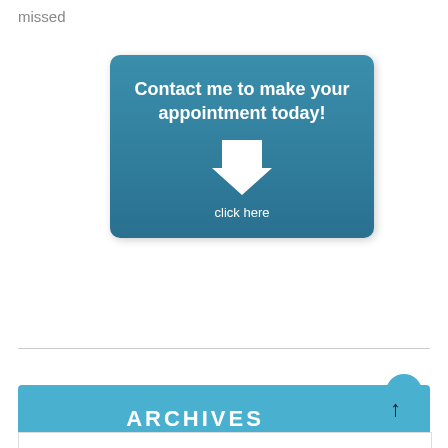missed
[Figure (infographic): A teal rounded rectangle call-to-action box with white bold text reading 'Contact me to make your appointment today!' a white downward arrow icon and the text 'click here' below]
ARCHIVES